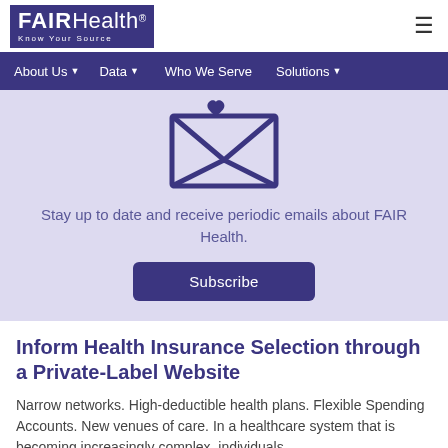FAIR Health - Know Your Source
About Us | Data | Who We Serve | Solutions
[Figure (illustration): Envelope icon on light purple background representing email subscription]
Stay up to date and receive periodic emails about FAIR Health.
Subscribe
Inform Health Insurance Selection through a Private-Label Website
Narrow networks. High-deductible health plans. Flexible Spending Accounts. New venues of care. In a healthcare system that is becoming increasingly complex, individuals